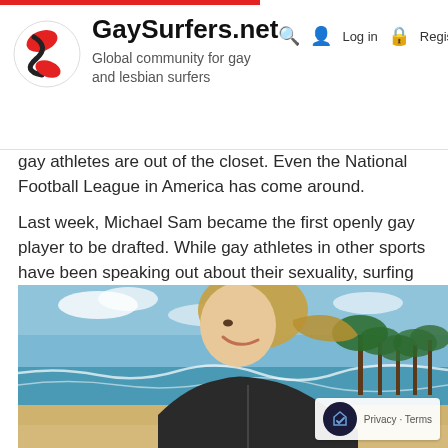GaySurfers.net — Global community for gay and lesbian surfers
gay athletes are out of the closet. Even the National Football League in America has come around.
Last week, Michael Sam became the first openly gay player to be drafted. While gay athletes in other sports have been speaking out about their sexuality, surfing has been stubbornly slow to change.
[Figure (photo): A smiling blonde woman in a black wetsuit on a beach, with blue ocean waves and palm trees in the background.]